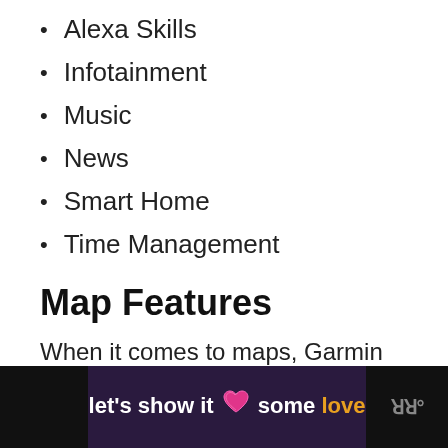Alexa Skills
Infotainment
Music
News
Smart Home
Time Management
Map Features
When it comes to maps, Garmin added preloaded street maps to the DriveSmart 86. The newer model also supports the ability to add new maps.
[Figure (other): Advertisement banner: dark purple background with text 'let’s show it some love' where 'love' is in orange/yellow, with a pink heart icon. Black strips on left and right sides with a TikTok-style logo on the right.]